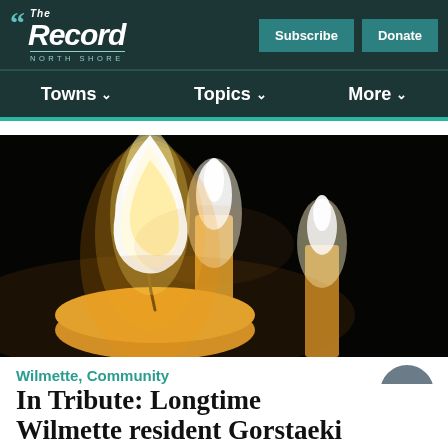The Record North Shore — Subscribe | Donate | Towns | Topics | More
[Figure (photo): Close-up photograph of lit candles against a dark black background. A large candle flame is in the foreground on the left, with two smaller candles glowing in the background.]
Wilmette, Community
In Tribute: Longtime Wilmette resident Gorstaeki remembered as